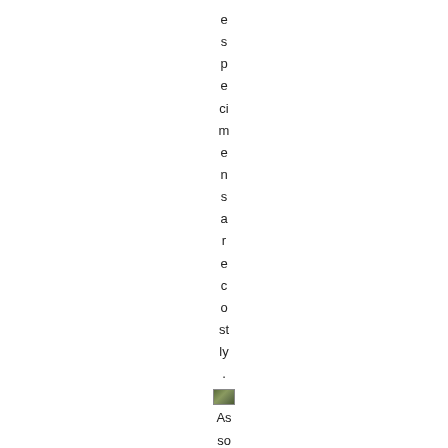especially are costly. As so
[Figure (photo): Small thumbnail photo, appears to be a landscape or nature scene]